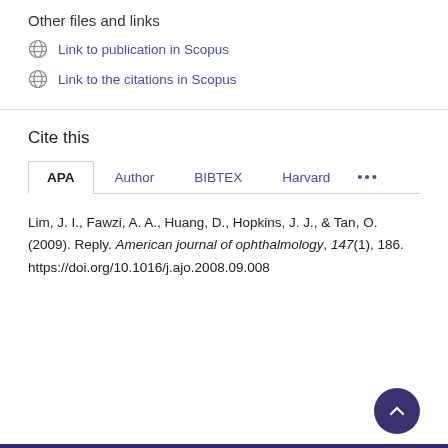Other files and links
Link to publication in Scopus
Link to the citations in Scopus
Cite this
APA | Author | BIBTEX | Harvard | ...
Lim, J. I., Fawzi, A. A., Huang, D., Hopkins, J. J., & Tan, O. (2009). Reply. American journal of ophthalmology, 147(1), 186. https://doi.org/10.1016/j.ajo.2008.09.008